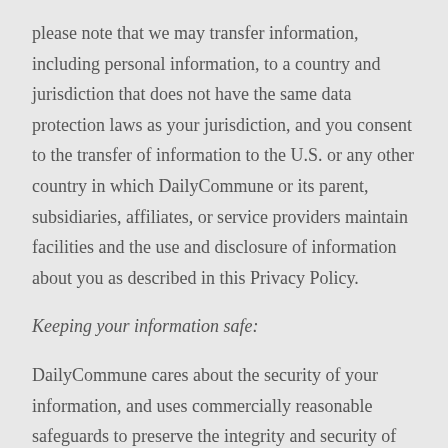please note that we may transfer information, including personal information, to a country and jurisdiction that does not have the same data protection laws as your jurisdiction, and you consent to the transfer of information to the U.S. or any other country in which DailyCommune or its parent, subsidiaries, affiliates, or service providers maintain facilities and the use and disclosure of information about you as described in this Privacy Policy.
Keeping your information safe:
DailyCommune cares about the security of your information, and uses commercially reasonable safeguards to preserve the integrity and security of all information collected through the Service. To protect...